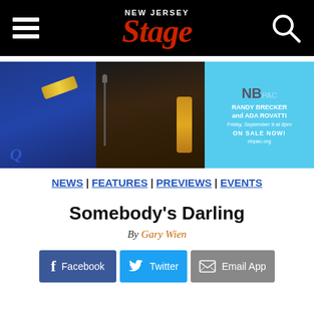New Jersey Stage
[Figure (photo): Banner advertisement showing two jazz musicians performing on stage (left: man playing trumpet in blue suit, right: woman playing saxophone), alongside a cyan advertisement for NBPAC featuring Randy Brecker and Ada Rovatti, Friday September 9 at 8pm, ON SALE NOW!, nbpac.org]
NEWS | FEATURES | PREVIEWS | EVENTS
Somebody's Darling
By Gary Wien
Facebook | Twitter | Email App